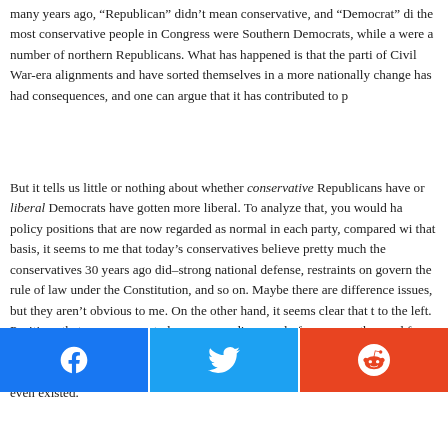many years ago, “Republican” didn’t mean conservative, and “Democrat” di the most conservative people in Congress were Southern Democrats, while a were a number of northern Republicans. What has happened is that the parti of Civil War-era alignments and have sorted themselves in a more nationally change has had consequences, and one can argue that it has contributed to p
But it tells us little or nothing about whether conservative Republicans have or liberal Democrats have gotten more liberal. To analyze that, you would ha policy positions that are now regarded as normal in each party, compared wi that basis, it seems to me that today’s conservatives believe pretty much the conservatives 30 years ago did–strong national defense, restraints on govern the rule of law under the Constitution, and so on. Maybe there are difference issues, but they aren’t obvious to me. On the other hand, it seems clear that t to the left. Positions that are common today–an open disavowal of concern a the need for federal budgets, gay marriage, advocacy of American weakness virtue, executive power to disregard federal statutes–would have been consi to the extent they even existed.
[Figure (infographic): Social sharing buttons for Facebook, Twitter, and Reddit]